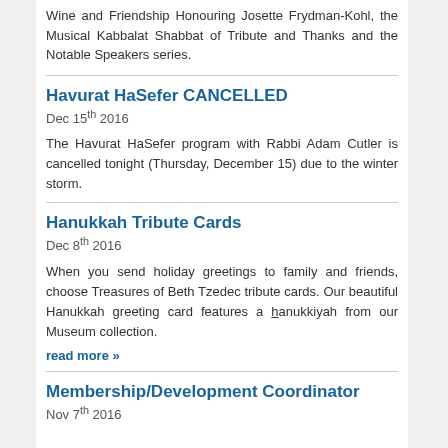Wine and Friendship Honouring Josette Frydman-Kohl, the Musical Kabbalat Shabbat of Tribute and Thanks and the Notable Speakers series.
Havurat HaSefer CANCELLED
Dec 15th 2016
The Havurat HaSefer program with Rabbi Adam Cutler is cancelled tonight (Thursday, December 15) due to the winter storm.
Hanukkah Tribute Cards
Dec 8th 2016
When you send holiday greetings to family and friends, choose Treasures of Beth Tzedec tribute cards. Our beautiful Hanukkah greeting card features a hanukkiyah from our Museum collection.
read more »
Membership/Development Coordinator
Nov 7th 2016